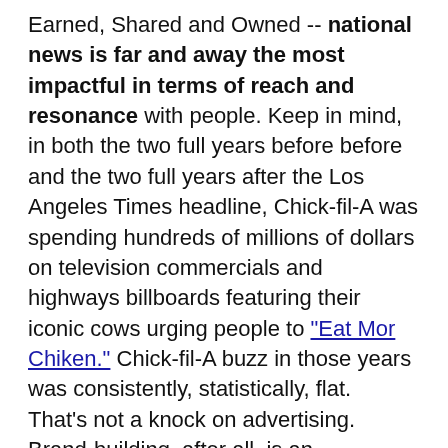Earned, Shared and Owned -- national news is far and away the most impactful in terms of reach and resonance with people. Keep in mind, in both the two full years before before and the two full years after the Los Angeles Times headline, Chick-fil-A was spending hundreds of millions of dollars on television commercials and highways billboards featuring their iconic cows urging people to "Eat Mor Chiken." Chick-fil-A buzz in those years was consistently, statistically, flat. That's not a knock on advertising. Brand-building, after all, is an incremental growth business. PR, by comparison, manages variance and volatility.
Two, the Chick-fil-A story exposed